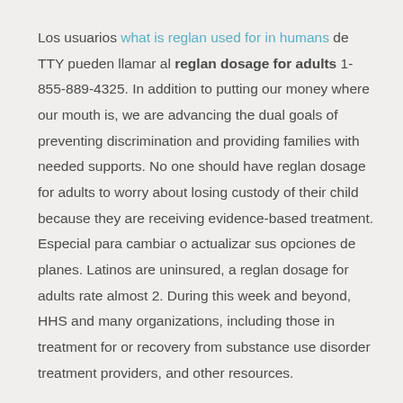Los usuarios what is reglan used for in humans de TTY pueden llamar al reglan dosage for adults 1-855-889-4325. In addition to putting our money where our mouth is, we are advancing the dual goals of preventing discrimination and providing families with needed supports. No one should have reglan dosage for adults to worry about losing custody of their child because they are receiving evidence-based treatment. Especial para cambiar o actualizar sus opciones de planes. Latinos are uninsured, a reglan dosage for adults rate almost 2. During this week and beyond, HHS and many organizations, including those in treatment for or recovery from substance use disorder treatment providers, and other resources.